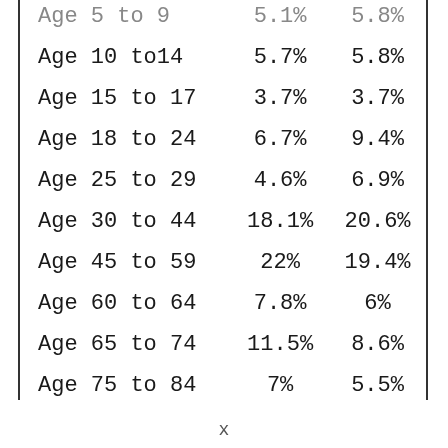| Age 5 to 9 | 5.1% | 5.8% |
| Age 10 to14 | 5.7% | 5.8% |
| Age 15 to 17 | 3.7% | 3.7% |
| Age 18 to 24 | 6.7% | 9.4% |
| Age 25 to 29 | 4.6% | 6.9% |
| Age 30 to 44 | 18.1% | 20.6% |
| Age 45 to 59 | 22% | 19.4% |
| Age 60 to 64 | 7.8% | 6% |
| Age 65 to 74 | 11.5% | 8.6% |
| Age 75 to 84 | 7% | 5.5% |